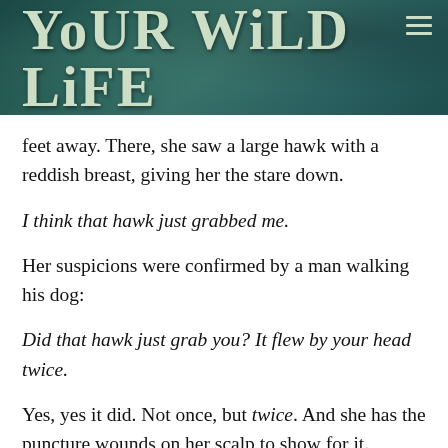YOUR WILD LIFE
feet away. There, she saw a large hawk with a reddish breast, giving her the stare down.
I think that hawk just grabbed me.
Her suspicions were confirmed by a man walking his dog:
Did that hawk just grab you? It flew by your head twice.
Yes, yes it did. Not once, but twice. And she has the puncture wounds on her scalp to show for it.